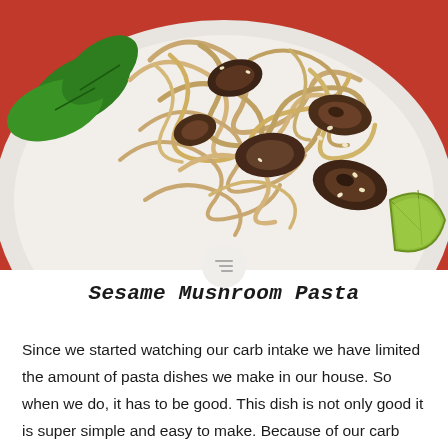[Figure (photo): Overhead photo of a white plate with sesame mushroom pasta noodles, sliced mushrooms, fresh green basil leaves, and a lime wedge, on a red background. A small circular icon with horizontal lines is overlaid at the bottom center of the image.]
Sesame Mushroom Pasta
Since we started watching our carb intake we have limited the amount of pasta dishes we make in our house. So when we do, it has to be good. This dish is not only good it is super simple and easy to make. Because of our carb watching I use Dream Fields pasta which is...